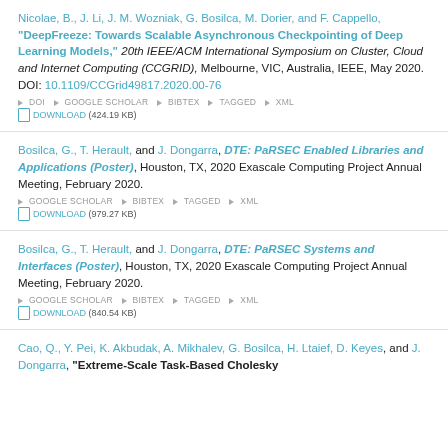Nicolae, B., J. Li, J. M. Wozniak, G. Bosilca, M. Dorier, and F. Cappello, "DeepFreeze: Towards Scalable Asynchronous Checkpointing of Deep Learning Models," 20th IEEE/ACM International Symposium on Cluster, Cloud and Internet Computing (CCGRID), Melbourne, VIC, Australia, IEEE, May 2020. DOI: 10.1109/CCGrid49817.2020.00-76
Bosilca, G., T. Herault, and J. Dongarra, DTE: PaRSEC Enabled Libraries and Applications (Poster), Houston, TX, 2020 Exascale Computing Project Annual Meeting, February 2020.
Bosilca, G., T. Herault, and J. Dongarra, DTE: PaRSEC Systems and Interfaces (Poster), Houston, TX, 2020 Exascale Computing Project Annual Meeting, February 2020.
Cao, Q., Y. Pei, K. Akbudak, A. Mikhalev, G. Bosilca, H. Ltaief, D. Keyes, and J. Dongarra, "Extreme-Scale Task-Based Cholesky...